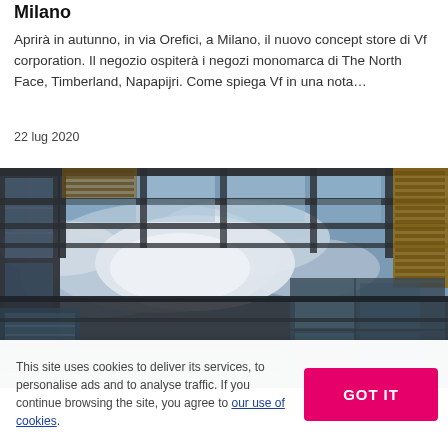Milano
Aprirà in autunno, in via Orefici, a Milano, il nuovo concept store di Vf corporation. Il negozio ospiterà i negozi monomarca di The North Face, Timberland, Napapijri. Come spiega Vf in una nota…
22 lug 2020
[Figure (photo): Upward-looking architectural photograph of a modern building with glass ceiling panels, steel structure, wooden louvers, and cloudy sky visible through the transparent roof.]
This site uses cookies to deliver its services, to personalise ads and to analyse traffic. If you continue browsing the site, you agree to our use of cookies.